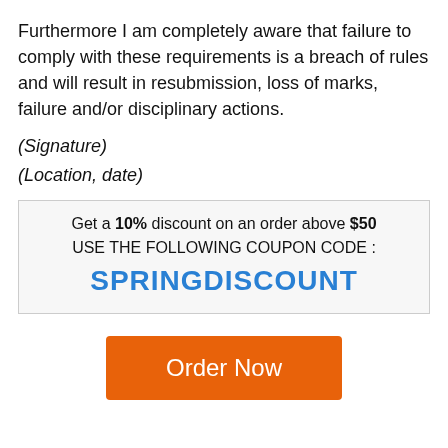Furthermore I am completely aware that failure to comply with these requirements is a breach of rules and will result in resubmission, loss of marks, failure and/or disciplinary actions.
(Signature)
(Location, date)
Get a 10% discount on an order above $50 USE THE FOLLOWING COUPON CODE : SPRINGDISCOUNT
Order Now